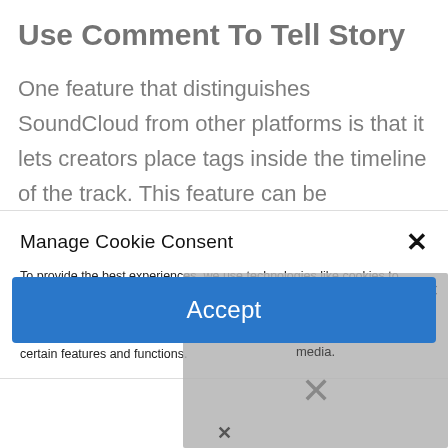Use Comment To Tell Story
One feature that distinguishes SoundCloud from other platforms is that it lets creators place tags inside the timeline of the track. This feature can be
Manage Cookie Consent
To provide the best experiences, we use technologies like cookies to store and/or access device information. Consenting to these technologies will allow us to process data such as browsing behavior or unique IDs on this site. Not consenting or withdrawing consent, may adversely affect certain features and functions.
Accept
No compatible source was found for this media.